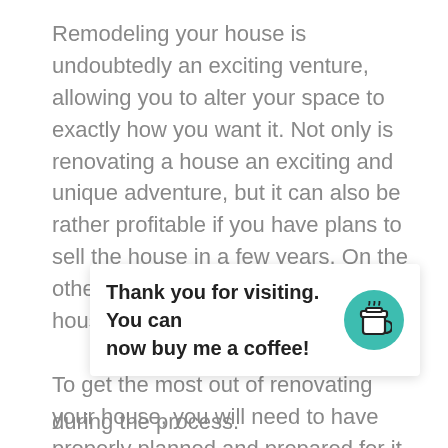Remodeling your house is undoubtedly an exciting venture, allowing you to alter your space to exactly how you want it. Not only is renovating a house an exciting and unique adventure, but it can also be rather profitable if you have plans to sell the house in a few years. On the other hand; however, remodeling a house can also be a costly feat.

To get the most out of renovating your house, you will need to have properly planned and prepared for it as well as be knowledgeable on what could and might go wrong. In this article, The Clever Home C... ...now a... ...ve n... during the process.
Thank you for visiting. You can now buy me a coffee!